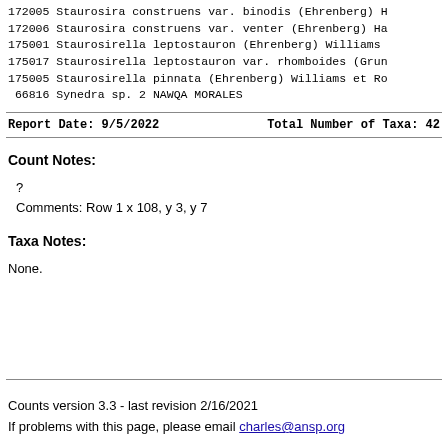172005  Staurosira construens var. binodis (Ehrenberg) H
172006  Staurosira construens var. venter (Ehrenberg) Ha
175001  Staurosirella leptostauron (Ehrenberg) Williams
175017  Staurosirella leptostauron var. rhomboides (Grun
175005  Staurosirella pinnata (Ehrenberg) Williams et Ro
66816  Synedra sp. 2 NAWQA MORALES
Report Date: 9/5/2022    Total Number of Taxa: 42
Count Notes:
?
Comments: Row 1 x 108, y 3, y 7
Taxa Notes:
None.
Counts version 3.3 - last revision 2/16/2021
If problems with this page, please email charles@ansp.org